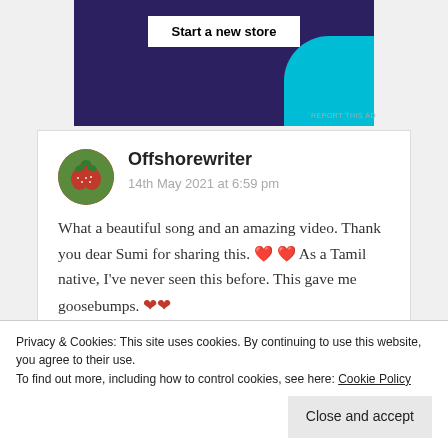[Figure (screenshot): Advertisement banner with dark purple background, 'Start a new store' white button, and cyan/teal organic shape on the right side]
REPORT THIS AD
Offshorewriter
14th May 2021 at 6:59 pm
What a beautiful song and an amazing video. Thank you dear Sumi for sharing this. ❣ ❣ As a Tamil native, I've never seen this before. This gave me goosebumps. 🤎🤎
Privacy & Cookies: This site uses cookies. By continuing to use this website, you agree to their use.
To find out more, including how to control cookies, see here: Cookie Policy
Close and accept